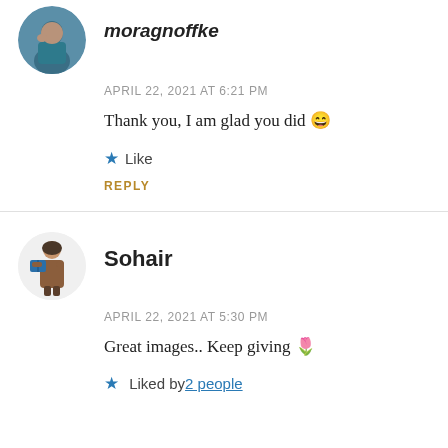moragnoffke
APRIL 22, 2021 AT 6:21 PM
Thank you, I am glad you did 😄
★ Like
REPLY
Sohair
APRIL 22, 2021 AT 5:30 PM
Great images.. Keep giving 🌷
★ Liked by 2 people